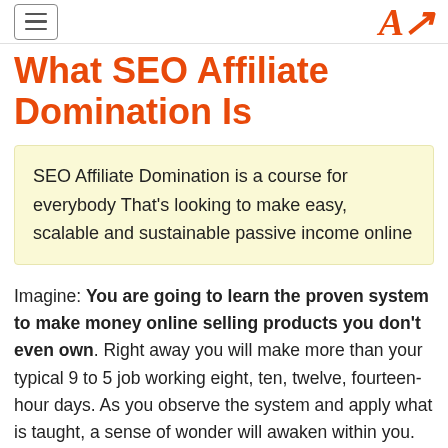≡  A
What SEO Affiliate Domination Is
SEO Affiliate Domination is a course for everybody That's looking to make easy, scalable and sustainable passive income online
Imagine: You are going to learn the proven system to make money online selling products you don't even own. Right away you will make more than your typical 9 to 5 job working eight, ten, twelve, fourteen-hour days. As you observe the system and apply what is taught, a sense of wonder will awaken within you.